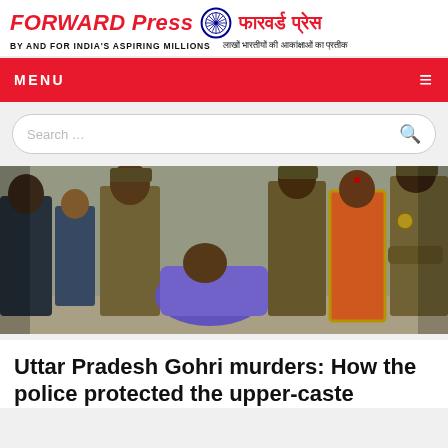FORWARD Press | फारवर्ड प्रेस — BY AND FOR INDIA'S ASPIRING MILLIONS | लाखों भारतीयों की आकांक्षाओं का प्रतीक
MENU
Search :::
[Figure (photo): Group of people including police officers in khaki uniforms and a woman in an orange saree, surrounding a person hunched over, possibly at a crime or protest scene.]
Uttar Pradesh Gohri murders: How the police protected the upper-caste